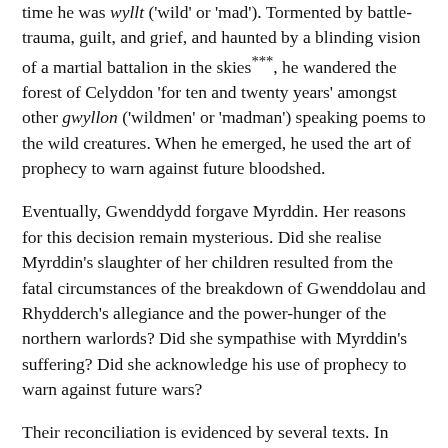time he was wyllt ('wild' or 'mad'). Tormented by battle-trauma, guilt, and grief, and haunted by a blinding vision of a martial battalion in the skies***, he wandered the forest of Celyddon 'for ten and twenty years' amongst other gwyllon ('wildmen' or 'madman') speaking poems to the wild creatures. When he emerged, he used the art of prophecy to warn against future bloodshed.
Eventually, Gwenddydd forgave Myrddin. Her reasons for this decision remain mysterious. Did she realise Myrddin's slaughter of her children resulted from the fatal circumstances of the breakdown of Gwenddolau and Rhydderch's allegiance and the power-hunger of the northern warlords? Did she sympathise with Myrddin's suffering? Did she acknowledge his use of prophecy to warn against future wars?
Their reconciliation is evidenced by several texts. In